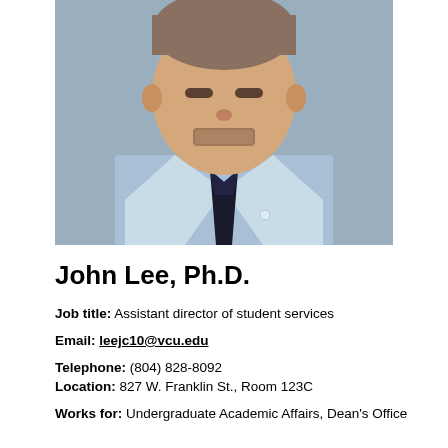[Figure (photo): Professional headshot of a man with short brown hair and stubble beard, wearing a light blue button-down shirt and dark navy tie, photographed against a gray background.]
John Lee, Ph.D.
Job title: Assistant director of student services
Email: leejc10@vcu.edu
Telephone: (804) 828-8092
Location: 827 W. Franklin St., Room 123C
Works for: Undergraduate Academic Affairs, Dean's Office